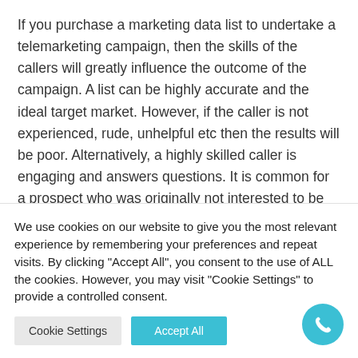If you purchase a marketing data list to undertake a telemarketing campaign, then the skills of the callers will greatly influence the outcome of the campaign. A list can be highly accurate and the ideal target market. However, if the caller is not experienced, rude, unhelpful etc then the results will be poor. Alternatively, a highly skilled caller is engaging and answers questions. It is common for a prospect who was originally not interested to be turned purely as a result of the person on the other
We use cookies on our website to give you the most relevant experience by remembering your preferences and repeat visits. By clicking "Accept All", you consent to the use of ALL the cookies. However, you may visit "Cookie Settings" to provide a controlled consent.